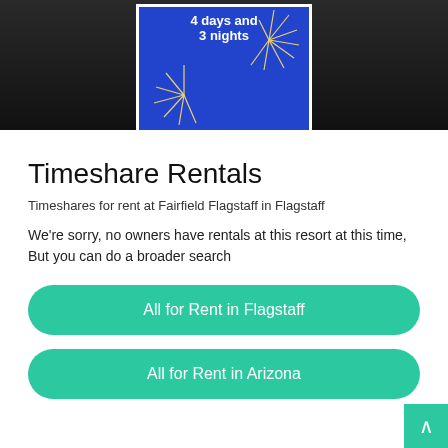[Figure (illustration): Dark cityscape hero banner with a blue promotional card in the center showing '4 days and 3 nights' text and fireworks design on a blue background.]
Timeshare Rentals
Timeshares for rent at Fairfield Flagstaff in Flagstaff
We're sorry, no owners have rentals at this resort at this time, But you can do a broader search
All for Rent in Flagstaff
All for Rent in Arizona